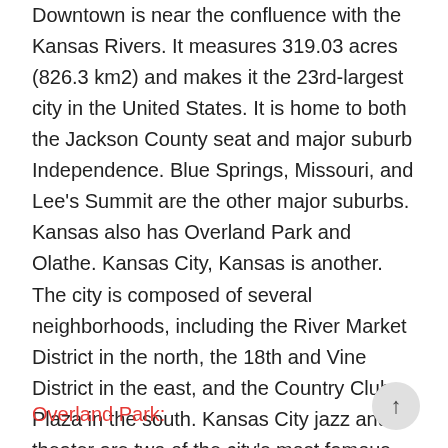Downtown is near the confluence with the Kansas Rivers. It measures 319.03 acres (826.3 km2) and makes it the 23rd-largest city in the United States. It is home to both the Jackson County seat and major suburb Independence. Blue Springs, Missouri, and Lee's Summit are the other major suburbs. Kansas also has Overland Park and Olathe. Kansas City, Kansas is another.
The city is composed of several neighborhoods, including the River Market District in the north, the 18th and Vine District in the east, and the Country Club Plaza in the south. Kansas City jazz and theater are two of the city's most famous cultural traditions. GaWC ranked the city as a gamma global city in 2020.
Overland Park: